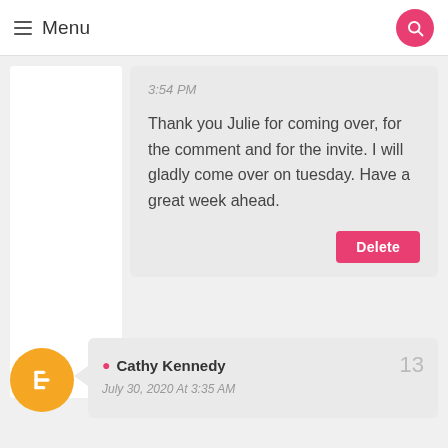Menu
3:54 PM
Thank you Julie for coming over, for the comment and for the invite. I will gladly come over on tuesday. Have a great week ahead.
Delete
Cathy Kennedy
13
July 30, 2020 At 3:35 AM